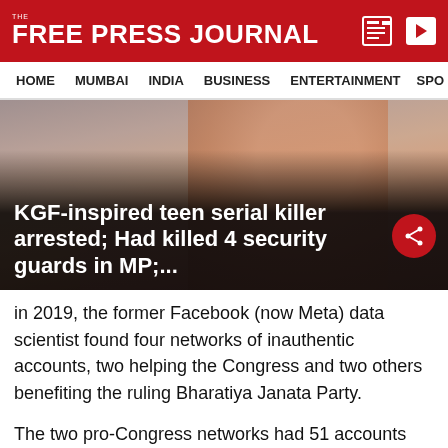THE FREE PRESS JOURNAL
HOME  MUMBAI  INDIA  BUSINESS  ENTERTAINMENT  SPO
[Figure (photo): News thumbnail/photograph of a person with overlay headline text: KGF-inspired teen serial killer arrested; Had killed 4 security guards in MP;...]
in 2019, the former Facebook (now Meta) data scientist found four networks of inauthentic accounts, two helping the Congress and two others benefiting the ruling Bharatiya Janata Party.
The two pro-Congress networks had 51 accounts and 526 accounts. The network with 526 accounts had around 100 active accounts per day and was helping amplify the party's agenda in Punjab